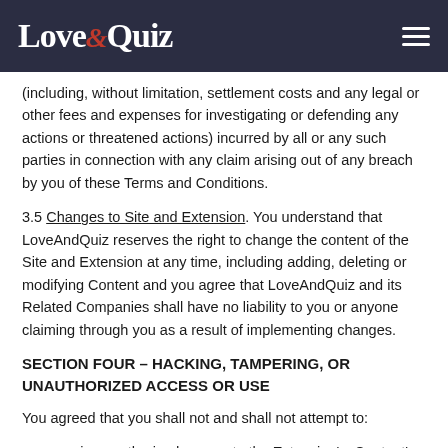LoveAndQuiz
(including, without limitation, settlement costs and any legal or other fees and expenses for investigating or defending any actions or threatened actions) incurred by all or any such parties in connection with any claim arising out of any breach by you of these Terms and Conditions.
3.5 Changes to Site and Extension. You understand that LoveAndQuiz reserves the right to change the content of the Site and Extension at any time, including adding, deleting or modifying Content and you agree that LoveAndQuiz and its Related Companies shall have no liability to you or anyone claiming through you as a result of implementing changes.
SECTION FOUR – HACKING, TAMPERING, OR UNAUTHORIZED ACCESS OR USE
You agreed that you shall not and shall not attempt to:
gain unauthorized access to the Extension's, Content's or Site's systems,